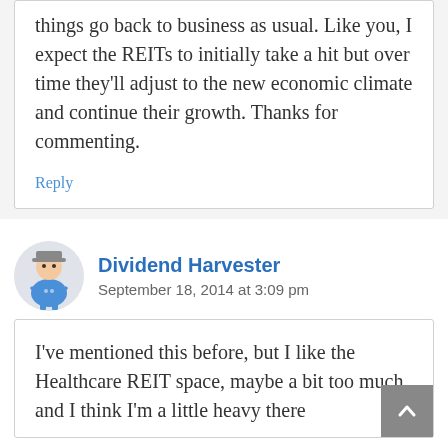things go back to business as usual. Like you, I expect the REITs to initially take a hit but over time they'll adjust to the new economic climate and continue their growth. Thanks for commenting.
Reply
[Figure (illustration): Avatar illustration of Dividend Harvester — cartoon character in blue outfit]
Dividend Harvester
September 18, 2014 at 3:09 pm
I've mentioned this before, but I like the Healthcare REIT space, maybe a bit too much, and I think I'm a little heavy there